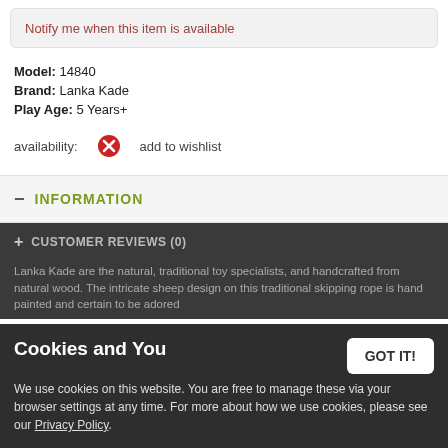Notify me when this item is available
Model: 14840
Brand: Lanka Kade
Play Age: 5 Years+
availability: [unavailable icon]   add to wishlist
INFORMATION
CUSTOMER REVIEWS (0)
Cookies and You
We use cookies on this website. You are free to manage these via your browser settings at any time. For more about how we use cookies, please see our Privacy Policy.
Lanka Kade are the natural, traditional toy specialists, and handcrafted from natural wood. The intricate sheep design on this traditional skipping rope is hand painted and certain to be adored